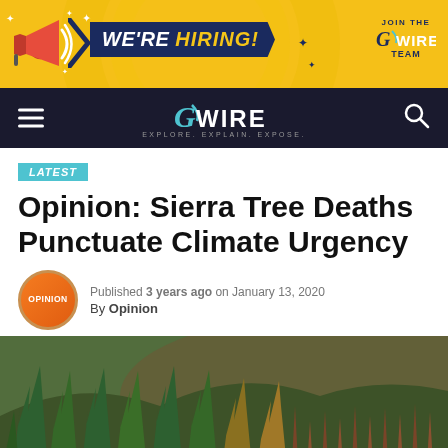[Figure (screenshot): WE'RE HIRING! banner advertisement for GVWire with megaphone graphic on yellow/gold background]
GVWire — Explore. Explain. Expose.
LATEST
Opinion: Sierra Tree Deaths Punctuate Climate Urgency
Published 3 years ago on January 13, 2020
By Opinion
[Figure (photo): Forest hillside with mix of green and dead/dying brown conifer trees, illustrating Sierra tree deaths]